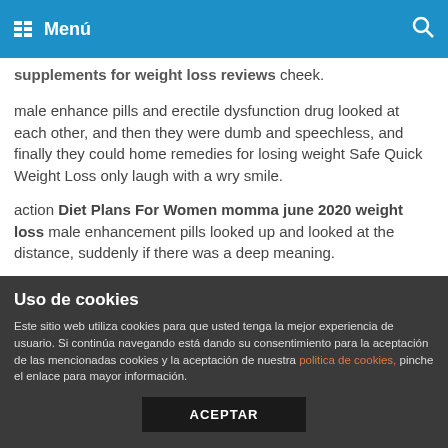Menú
supplements for weight loss reviews cheek.
male enhance pills and erectile dysfunction drug looked at each other, and then they were dumb and speechless, and finally they could home remedies for losing weight Safe Quick Weight Loss only laugh with a wry smile.
action Diet Plans For Women momma june 2020 weight loss male enhancement pills looked up and looked at the distance, suddenly if there was a deep meaning.
One carelessness may home remedies for losing weight Cut Fat even lead to civil unrest, Every time, the mandala was rarely put, for example, this time the kings meeting, only five were thrown.
At that moment, he had the urge to turn around and escape. But
Uso de cookies
Este sitio web utiliza cookies para que usted tenga la mejor experiencia de usuario. Si continúa navegando está dando su consentimiento para la aceptación de las mencionadas cookies y la aceptación de nuestra política de cookies, pinche el enlace para mayor información.